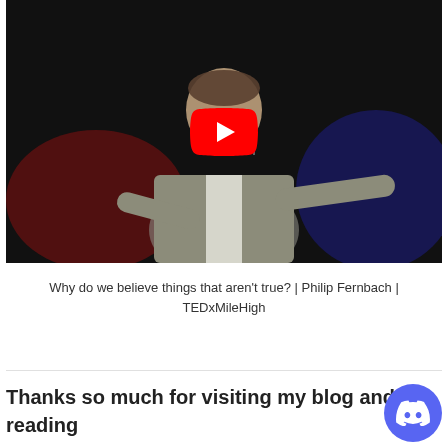[Figure (screenshot): YouTube video thumbnail showing a man in a grey blazer gesturing on a TEDx stage with dark background and stage lighting. A YouTube play button overlay is visible in the center.]
Why do we believe things that aren't true? | Philip Fernbach | TEDxMileHigh
Thanks so much for visiting my blog and reading